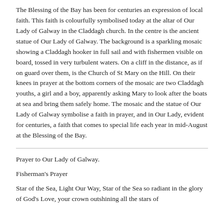The Blessing of the Bay has been for centuries an expression of local faith. This faith is colourfully symbolised today at the altar of Our Lady of Galway in the Claddagh church. In the centre is the ancient statue of Our Lady of Galway. The background is a sparkling mosaic showing a Claddagh hooker in full sail and with fishermen visible on board, tossed in very turbulent waters. On a cliff in the distance, as if on guard over them, is the Church of St Mary on the Hill. On their knees in prayer at the bottom corners of the mosaic are two Claddagh youths, a girl and a boy, apparently asking Mary to look after the boats at sea and bring them safely home. The mosaic and the statue of Our Lady of Galway symbolise a faith in prayer, and in Our Lady, evident for centuries, a faith that comes to special life each year in mid-August at the Blessing of the Bay.
Prayer to Our Lady of Galway.
Fisherman's Prayer
Star of the Sea, Light Our Way, Star of the Sea so radiant in the glory of God's Love, your crown outshining all the stars of